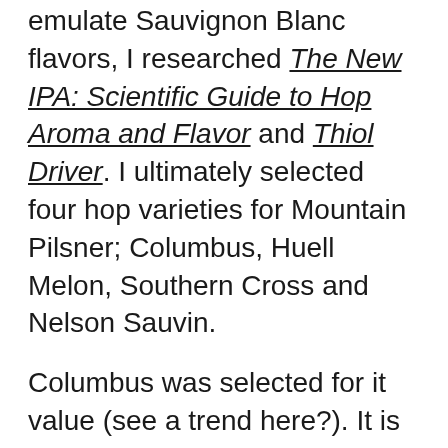emulate Sauvignon Blanc flavors, I researched The New IPA: Scientific Guide to Hop Aroma and Flavor and Thiol Driver. I ultimately selected four hop varieties for Mountain Pilsner; Columbus, Huell Melon, Southern Cross and Nelson Sauvin.
Columbus was selected for it value (see a trend here?). It is one of the most affordable high alpha acid hops which lends efficiency to bitterness and may help improve overall beer stability (when added during the mash). For more insight on the benefits of Columbus, I recommend reading The New IPA or checking out my Mountain IPA #1 blog post. I used